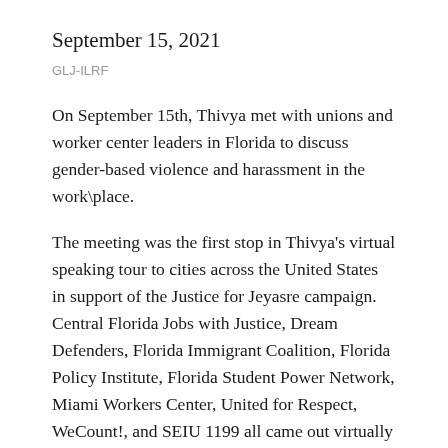September 15, 2021
GLJ-ILRF
On September 15th, Thivya met with unions and worker center leaders in Florida to discuss gender-based violence and harassment in the work\place.
The meeting was the first stop in Thivya's virtual speaking tour to cities across the United States in support of the Justice for Jeyasre campaign. Central Florida Jobs with Justice, Dream Defenders, Florida Immigrant Coalition, Florida Policy Institute, Florida Student Power Network, Miami Workers Center, United for Respect, WeCount!, and SEIU 1199 all came out virtually to discuss strategies for organizing against retaliation and gender-based violence and harassment, and to learn about the Justice for Jeyasre